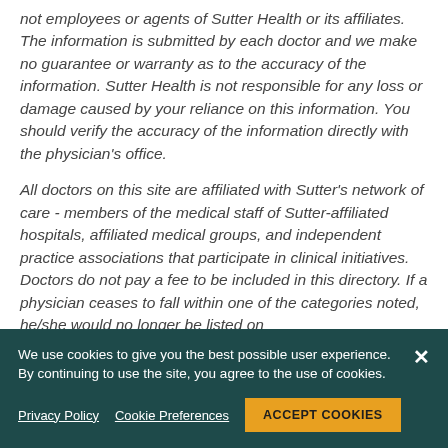not employees or agents of Sutter Health or its affiliates. The information is submitted by each doctor and we make no guarantee or warranty as to the accuracy of the information. Sutter Health is not responsible for any loss or damage caused by your reliance on this information. You should verify the accuracy of the information directly with the physician's office.
All doctors on this site are affiliated with Sutter's network of care - members of the medical staff of Sutter-affiliated hospitals, affiliated medical groups, and independent practice associations that participate in clinical initiatives. Doctors do not pay a fee to be included in this directory. If a physician ceases to fall within one of the categories noted, he/she would no longer be listed on
We use cookies to give you the best possible user experience. By continuing to use the site, you agree to the use of cookies.
Privacy Policy   Cookie Preferences   ACCEPT COOKIES